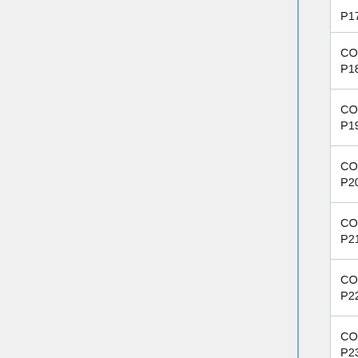| Pin | Signal | Alt Function 1 | Alt Function 2 |
| --- | --- | --- | --- |
| CON1-P17 | VCC-3V3 |  |  |
| CON1-P18 | GPIOX_1
SDIO_D1 |  |  |
| CON1-P19 | GPIOX_8
PCM_DIN |  |  |
| CON1-P20 | GND |  |  |
| CON1-P21 | GPIOX_9
PCM_DOUT |  |  |
| CON1-P22 | GPIOX_2
SDIO_D2 |  |  |
| CON1-P23 | GPIOX_11 | PCM_CLK |  |
| CON1-P24 | GPIOX_10 | PCM_SYNC |  |
| CON1-P25 | GND |  |  |
| CON1-... |  |  |  |